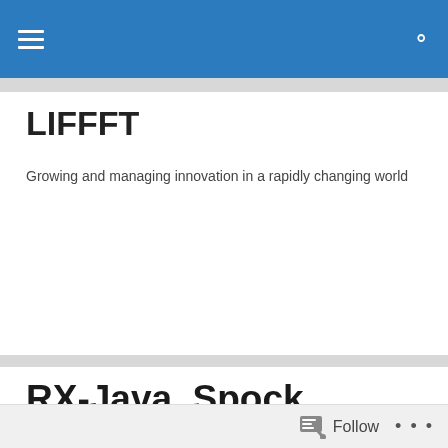LIFFFT — navigation bar with hamburger menu and search icon
LIFFFT
Growing and managing innovation in a rapidly changing world
RX-Java, Spock, Groovy, Android-bindings… Android might now be testable! say what?
Along with our friends at Nordstrom we have some fundamental values we believe in. These include paired
Follow • • •